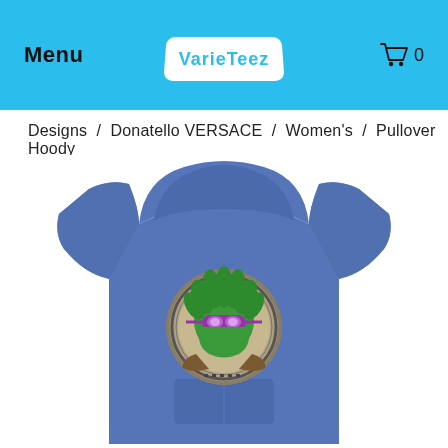Menu  VarieTeez  0
Designs  /  Donatello VERSACE  /  Women's  /  Pullover Hoody
[Figure (photo): Blue pullover hoodie with a circular Donatello VERSACE logo medallion on the chest, displayed from the back showing the hood up. The medallion features a green TMNT turtle face with purple mask in a Versace Medusa-style circular border.]